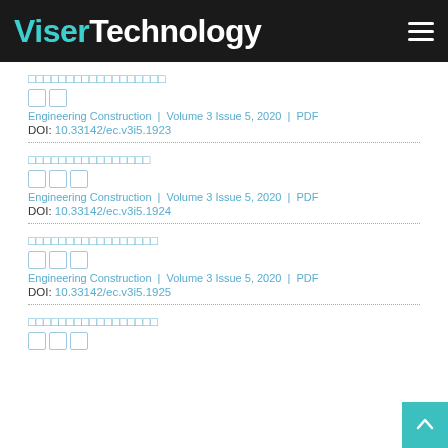ViserTechnology
□□□□□□□□□□□□□□□□□□
□□
Engineering Construction | Volume 3 Issue 5, 2020 | PDF
DOI: 10.33142/ec.v3i5.1923
□□□□□□□□□□□□□□□□
□□□
Engineering Construction | Volume 3 Issue 5, 2020 | PDF
DOI: 10.33142/ec.v3i5.1924
□□□□□□□□□□□□□□□□□
□□□
Engineering Construction | Volume 3 Issue 5, 2020 | PDF
DOI: 10.33142/ec.v3i5.1925
□□□□□□□□□□□□□□□□□
□□□